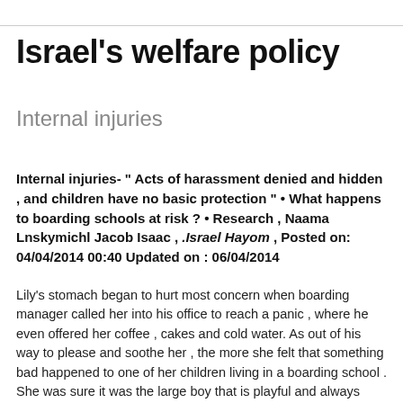Israel's welfare policy
Internal injuries
Internal injuries- " Acts of harassment denied and hidden , and children have no basic protection " • What happens to boarding schools at risk ? • Research , Naama Lnskymichl Jacob Isaac , .Israel Hayom , Posted on: 04/04/2014 00:40 Updated on : 06/04/2014
Lily's stomach began to hurt most concern when boarding manager called her into his office to reach a panic , where he even offered her coffee , cakes and cold water. As out of his way to please and soothe her , the more she felt that something bad happened to one of her children living in a boarding school . She was sure it was the large boy that is playful and always making trouble.